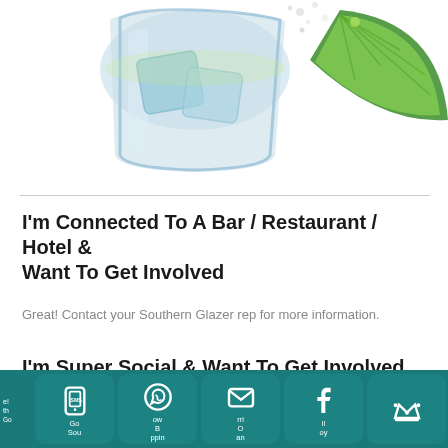[Figure (illustration): Watercolor illustration of a cocktail glass with ice and lime wedge, viewed from above, with lime slice to the right and salt/bubbles scattered around.]
I'm Connected To A Bar / Restaurant / Hotel & Want To Get Involved
Great! Contact your Southern Glazer rep for more information.
I'm Super Social & Want To Get Involved
[Figure (infographic): Bottom navigation bar with teal background showing 5 icon buttons: SMS/phone icon, WhatsApp icon, email/envelope icon, Facebook icon, and crown/loyalty icon, with partial text labels visible.]